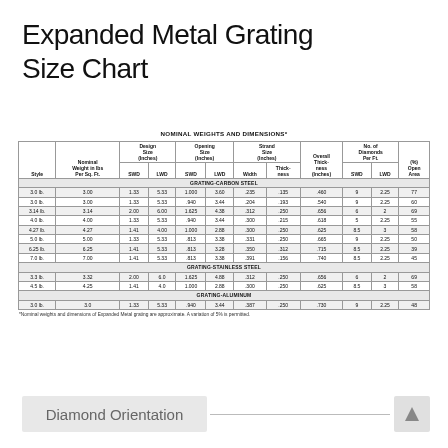Expanded Metal Grating Size Chart
| Style | Nominal Weight in lbs Per Sq. Ft. | Design Size (Inches) SWD | Design Size (Inches) LWD | Opening Size (Inches) SWD | Opening Size (Inches) LWD | Strand Size (Inches) Width | Strand Size (Inches) Thickness | Overall Thickness (Inches) | No. of Diamonds Per Ft. SWD | No. of Diamonds Per Ft. LWD | (%) Open Area |
| --- | --- | --- | --- | --- | --- | --- | --- | --- | --- | --- | --- |
| GRATING-CARBON STEEL |
| 3.0 lb. | 3.00 | 1.33 | 5.33 | 1.000 | 3.60 | .235 | .135 | .460 | 9 | 2.25 | 77 |
| 3.0 lb. | 3.00 | 1.33 | 5.33 | .940 | 3.44 | .204 | .193 | .540 | 9 | 2.25 | 60 |
| 3.14 lb. | 3.14 | 2.00 | 6.00 | 1.625 | 4.38 | .312 | .250 | .656 | 6 | 2 | 69 |
| 4.0 lb. | 4.00 | 1.33 | 5.33 | .940 | 3.44 | .300 | .215 | .618 | 5 | 2.25 | 55 |
| 4.27 lb. | 4.27 | 1.41 | 4.00 | 1.000 | 2.88 | .300 | .250 | .625 | 8.5 | 3 | 58 |
| 5.0 lb. | 5.00 | 1.33 | 5.33 | .813 | 3.38 | .331 | .250 | .665 | 9 | 2.25 | 50 |
| 6.25 lb. | 6.25 | 1.41 | 5.33 | .813 | 3.28 | .350 | .312 | .715 | 8.5 | 2.25 | 39 |
| 7.0 lb. | 7.00 | 1.41 | 5.33 | .813 | 3.38 | .391 | .156 | .740 | 8.5 | 2.25 | 45 |
| GRATING-STAINLESS STEEL |
| 3.3 lb. | 3.32 | 2.00 | 6.0 | 1.625 | 4.88 | .312 | .250 | .656 | 6 | 2 | 69 |
| 4.5 lb. | 4.25 | 1.41 | 4.0 | 1.000 | 2.88 | .300 | .250 | .625 | 8.5 | 3 | 58 |
| GRATING-ALUMINUM |
| 3.0 lb. | 3.0 | 1.33 | 5.33 | .940 | 3.44 | .387 | .250 | .730 | 9 | 2.25 | 48 |
*Nominal weights and dimensions of Expanded Metal grating are approximate. A variation of 5% is permitted.
Diamond Orientation